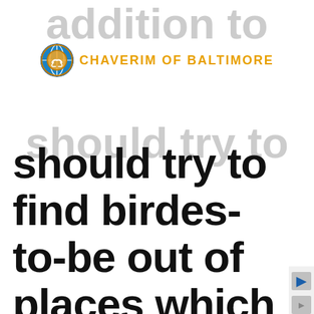[Figure (logo): Chaverim of Baltimore logo: circular badge with handshake icon and yellow text 'CHAVERIM OF BALTIMORE']
should try to find birdes-to-be out of places which can be reasonably wealthy plus by countries